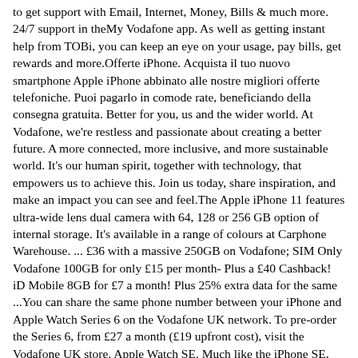to get support with Email, Internet, Money, Bills & much more. 24/7 support in theMy Vodafone app. As well as getting instant help from TOBi, you can keep an eye on your usage, pay bills, get rewards and more.Offerte iPhone. Acquista il tuo nuovo smartphone Apple iPhone abbinato alle nostre migliori offerte telefoniche. Puoi pagarlo in comode rate, beneficiando della consegna gratuita. Better for you, us and the wider world. At Vodafone, we're restless and passionate about creating a better future. A more connected, more inclusive, and more sustainable world. It's our human spirit, together with technology, that empowers us to achieve this. Join us today, share inspiration, and make an impact you can see and feel.The Apple iPhone 11 features ultra-wide lens dual camera with 64, 128 or 256 GB option of internal storage. It's available in a range of colours at Carphone Warehouse. ... £36 with a massive 250GB on Vodafone; SIM Only Vodafone 100GB for only £15 per month- Plus a £40 Cashback! iD Mobile 8GB for £7 a month! Plus 25% extra data for the same ...You can share the same phone number between your iPhone and Apple Watch Series 6 on the Vodafone UK network. To pre-order the Series 6, from £27 a month (£19 upfront cost), visit the Vodafone UK store. Apple Watch SE. Much like the iPhone SE, the Apple Watch SE has the most essential features of its higher-end stablemate at a lower price.Επισκέψου το My Vodafone; Μάθε για το My Vodafone; ... Apple Θήκη Σιλικόνης για iPhone 7plus. μόνο συσκευή Videos IoT Cooler Control video Vodafone One Net Evo3 Vodafone One Net Γιατί να επιλέξω το Vodafone eShop; ... Dec 02